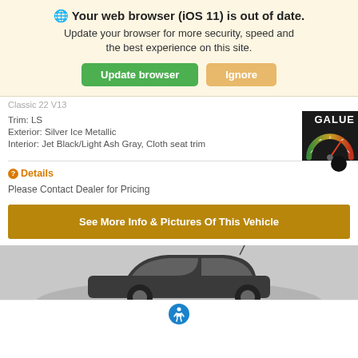🌐 Your web browser (iOS 11) is out of date. Update your browser for more security, speed and the best experience on this site.
Update browser | Ignore
Classic 22 v13
Trim: LS
Exterior: Silver Ice Metallic
Interior: Jet Black/Light Ash Gray, Cloth seat trim
Details
Please Contact Dealer for Pricing
See More Info & Pictures Of This Vehicle
[Figure (screenshot): Partial car image on gray background at bottom of page]
[Figure (other): Accessibility icon (blue circle with white person figure)]